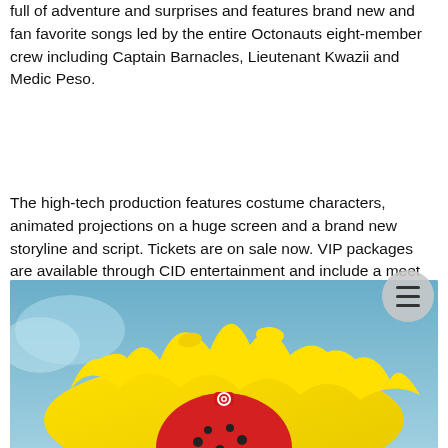full of adventure and surprises and features brand new and fan favorite songs led by the entire Octonauts eight-member crew including Captain Barnacles, Lieutenant Kwazii and Medic Peso.
The high-tech production features costume characters, animated projections on a huge screen and a brand new storyline and script. Tickets are on sale now. VIP packages are available through CID entertainment and include a meet and greet with the characters and premium seating. For more information, visit www.octonautsliveus.com.
[Figure (photo): Partial view of an Octonauts character (appears to be a red submarine or character suit) emerging from a yellow splash against a blue sky background.]